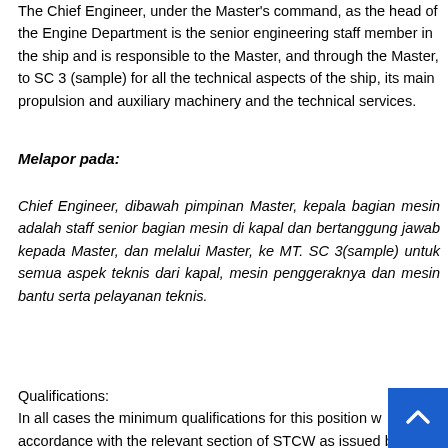The Chief Engineer, under the Master's command, as the head of the Engine Department is the senior engineering staff member in the ship and is responsible to the Master, and through the Master, to SC 3 (sample) for all the technical aspects of the ship, its main propulsion and auxiliary machinery and the technical services.
Melapor pada:
Chief Engineer, dibawah pimpinan Master, kepala bagian mesin adalah staff senior bagian mesin di kapal dan bertanggung jawab kepada Master, dan melalui Master, ke MT. SC 3(sample) untuk semua aspek teknis dari kapal, mesin penggeraknya dan mesin bantu serta pelayanan teknis.
Qualifications:
In all cases the minimum qualifications for this position w accordance with the relevant section of STCW as issued by